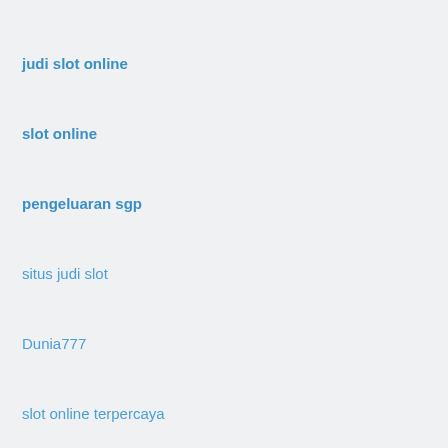judi slot online
slot online
pengeluaran sgp
situs judi slot
Dunia777
slot online terpercaya